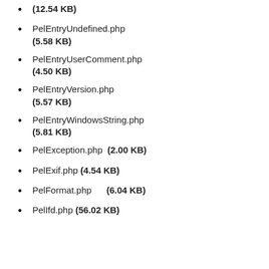(12.54 KB)
PelEntryUndefined.php (5.58 KB)
PelEntryUserComment.php (4.50 KB)
PelEntryVersion.php (5.57 KB)
PelEntryWindowsString.php (5.81 KB)
PelException.php (2.00 KB)
PelExif.php (4.54 KB)
PelFormat.php (6.04 KB)
PelIfd.php (56.02 KB)